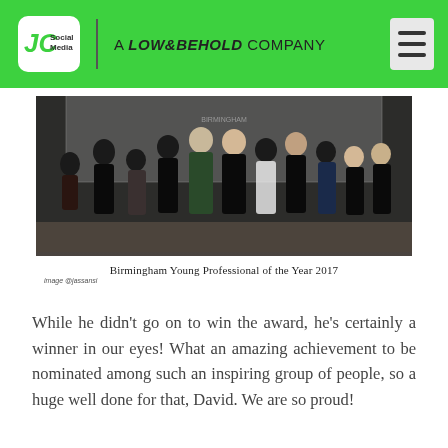JC Social Media | A LOW&BEHOLD COMPANY
[Figure (photo): Group photo of nominees at Birmingham Young Professional of the Year 2017 awards ceremony, people dressed in formal attire against a backdrop]
Birmingham Young Professional of the Year 2017
image @jassansi
While he didn't go on to win the award, he's certainly a winner in our eyes! What an amazing achievement to be nominated among such an inspiring group of people, so a huge well done for that, David. We are so proud!